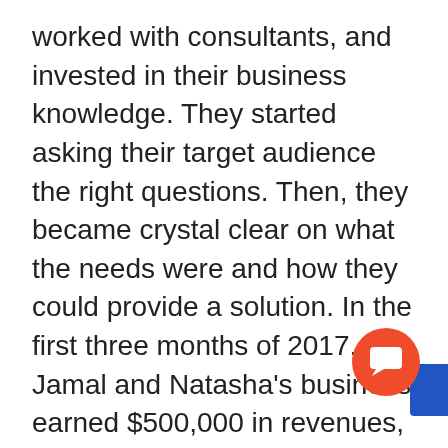worked with consultants, and invested in their business knowledge. They started asking their target audience the right questions. Then, they became crystal clear on what the needs were and how they could provide a solution. In the first three months of 2017, Jamal and Natasha's business earned $500,000 in revenues, Forbes reported.
“As you are starting a new business, find the thing that you can become a category king at,” Jamal shared on the